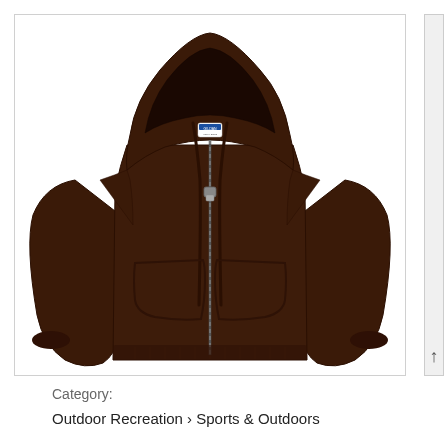[Figure (photo): Dark chocolate brown Gildan full-zip hoodie sweatshirt with hood up, front zipper, kangaroo pockets, and ribbed cuffs/hem, shown on plain white background.]
Category:
Outdoor Recreation › Sports & Outdoors